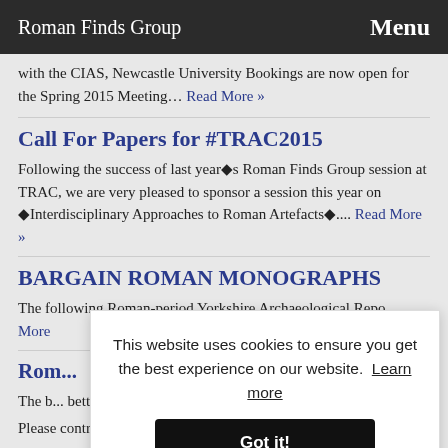Roman Finds Group   Menu
with the CIAS, Newcastle University Bookings are now open for the Spring 2015 Meeting… Read More »
Call For Papers for #TRAC2015
Following the success of last year's Roman Finds Group session at TRAC, we are very pleased to sponsor a session this year on 'Interdisciplinary Approaches to Roman Artefacts'.... Read More »
BARGAIN ROMAN MONOGRAPHS
The following Roman-period Yorkshire Archaeological Repo... More
Rom...
The b... bette...
Please contribute your views via our online survey. Thanks!...
This website uses cookies to ensure you get the best experience on our website. Learn more
Got it!